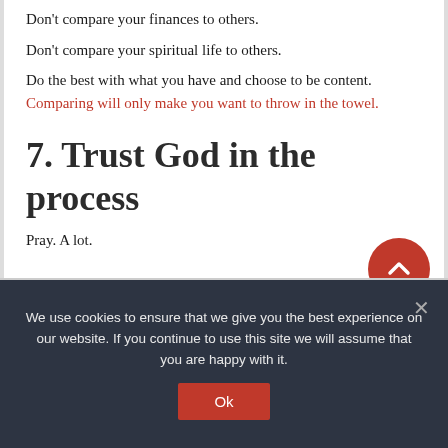Don't compare your finances to others.
Don't compare your spiritual life to others.
Do the best with what you have and choose to be content. Comparing will only make you want to throw in the towel.
7. Trust God in the process
Pray. A lot.
We use cookies to ensure that we give you the best experience on our website. If you continue to use this site we will assume that you are happy with it.